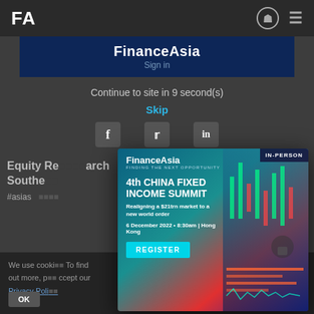FA
[Figure (screenshot): FinanceAsia website screenshot with ad overlay and popup modal for 4th China Fixed Income Summit]
FinanceAsia
Sign in
Continue to site in 9 second(s)
Skip
Equity R... arch Southeast
#asias
IN-PERSON
FinanceAsia
FINDING THE NEXT OPPORTUNITY
4th CHINA FIXED INCOME SUMMIT
Realigning a $21trn market to a new world order
6 December 2022 • 8:30am | Hong Kong
REGISTER
We use cookies. To find out more, please accept our Privacy Policy
OK